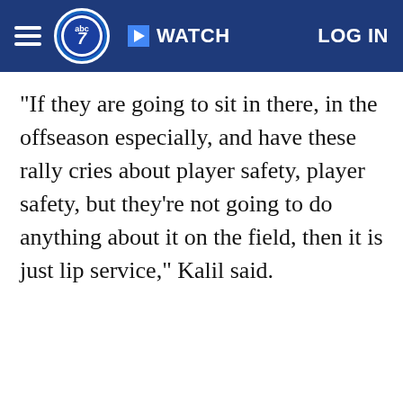ABC7 Navigation bar with hamburger menu, ABC7 logo, WATCH button, and LOG IN link
"If they are going to sit in there, in the offseason especially, and have these rally cries about player safety, player safety, but they're not going to do anything about it on the field, then it is just lip service," Kalil said.